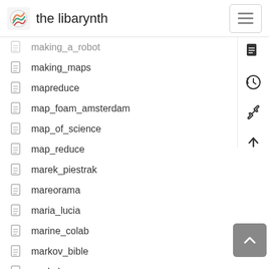the libarynth
making_a_robot
making_maps
mapreduce
map_foam_amsterdam
map_of_science
map_reduce
marek_piestrak
mareorama
maria_lucia
marine_colab
markov_bible
mark_leyner
mark_lombardi
marlinde_koopmans
marlinde_loopmans
martian_rose
martin_brolin
masanobu_fukuoka
masarang_foundation